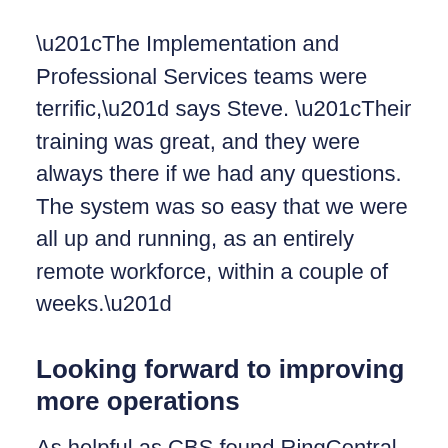“The Implementation and Professional Services teams were terrific,” says Steve. “Their training was great, and they were always there if we had any questions. The system was so easy that we were all up and running, as an entirely remote workforce, within a couple of weeks.”
Looking forward to improving more operations
As helpful as CBS found RingCentral to its operations right away, the company is even more enthusiastic about implementing some of the solutions for streamlining the